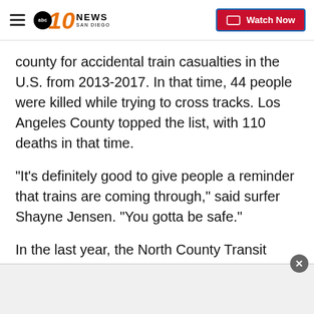10 News San Diego — Watch Now
county for accidental train casualties in the U.S. from 2013-2017. In that time, 44 people were killed while trying to cross tracks. Los Angeles County topped the list, with 110 deaths in that time.
"It's definitely good to give people a reminder that trains are coming through," said surfer Shayne Jensen. "You gotta be safe."
In the last year, the North County Transit District has taken steps to make trains safer. In 2018, they equipped all of their trains with Positive Train Control